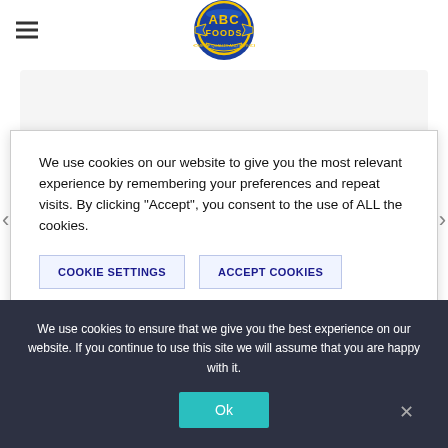ABC Foods
[Figure (logo): ABC Foods circular logo with yellow text and blue background, with ribbon banner]
[Figure (illustration): Gray silhouette avatar/person placeholder icon inside a light gray card]
We use cookies on our website to give you the most relevant experience by remembering your preferences and repeat visits. By clicking “Accept”, you consent to the use of ALL the cookies.
COOKIE SETTINGS
ACCEPT COOKIES
We use cookies to ensure that we give you the best experience on our website. If you continue to use this site we will assume that you are happy with it.